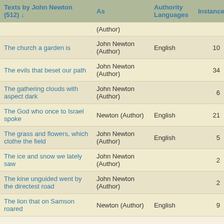| Texts by John Newton (512) ↓ | As | Authority Languages | Instances |
| --- | --- | --- | --- |
|  | (Author) |  |  |
| The church a garden is | John Newton (Author) | English | 10 |
| The evils that beset our path | John Newton (Author) |  | 34 |
| The gathering clouds with aspect dark | John Newton (Author) |  | 6 |
| The God who once to Israel spoke | Newton (Author) | English | 21 |
| The grass and flowers, which clothe the field | John Newton (Author) | English | 5 |
| The ice and snow we lately saw | John Newton (Author) |  | 2 |
| The kine unguided went by the directest road | John Newton (Author) |  | 2 |
| The lion that on Samson roared | Newton (Author) | English | 9 |